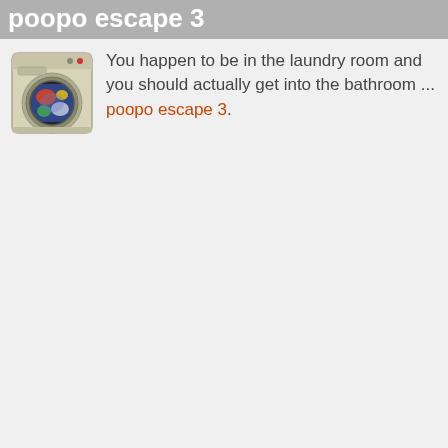poopo escape 3
[Figure (illustration): Washing machine icon — a cream/beige colored front-loading washing machine with a circular porthole window showing colorful laundry inside]
You happen to be in the laundry room and you should actually get into the bathroom ... poopo escape 3.